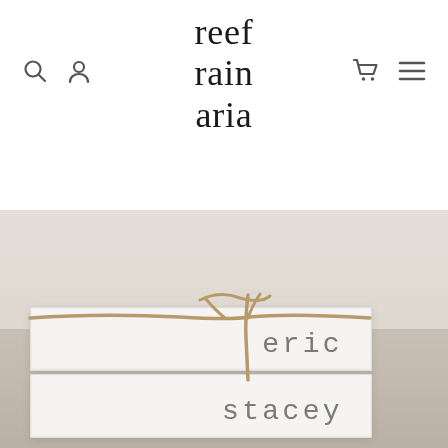reef rain aria
[Figure (photo): Stacked white gift boxes tied with natural twine/jute rope, with the names 'eric' and 'stacey' printed in grey monospace type on each box. Background is a blurred light neutral/cream wall and surface.]